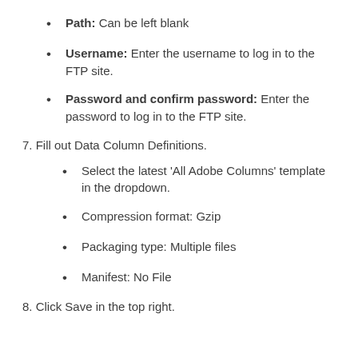Path: Can be left blank
Username: Enter the username to log in to the FTP site.
Password and confirm password: Enter the password to log in to the FTP site.
7. Fill out Data Column Definitions.
Select the latest 'All Adobe Columns' template in the dropdown.
Compression format: Gzip
Packaging type: Multiple files
Manifest: No File
8. Click Save in the top right.